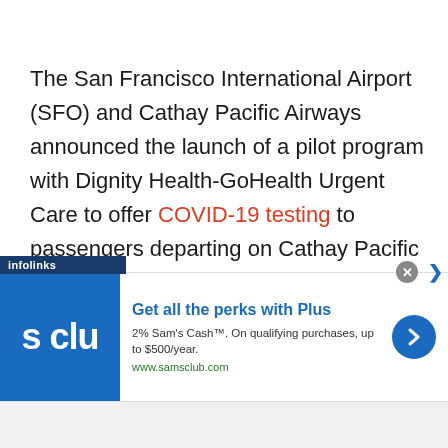The San Francisco International Airport (SFO) and Cathay Pacific Airways announced the launch of a pilot program with Dignity Health-GoHealth Urgent Care to offer COVID-19 testing to passengers departing on Cathay Pacific flights, using the Airport's onsite rapid testing facility. This partnership will provide a health screening proof-of-concept that hopes to further the
[Figure (other): Infolinks advertisement banner for Sam's Club featuring the text 'Get all the perks with Plus', '2% Sam's Cash™. On qualifying purchases, up to $500/year.' and 'www.samsclub.com', with Sam's Club logo on the left and a blue arrow button on the right.]